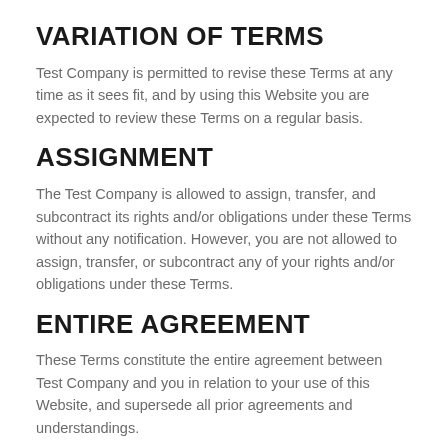VARIATION OF TERMS
Test Company is permitted to revise these Terms at any time as it sees fit, and by using this Website you are expected to review these Terms on a regular basis.
ASSIGNMENT
The Test Company is allowed to assign, transfer, and subcontract its rights and/or obligations under these Terms without any notification. However, you are not allowed to assign, transfer, or subcontract any of your rights and/or obligations under these Terms.
ENTIRE AGREEMENT
These Terms constitute the entire agreement between Test Company and you in relation to your use of this Website, and supersede all prior agreements and understandings.